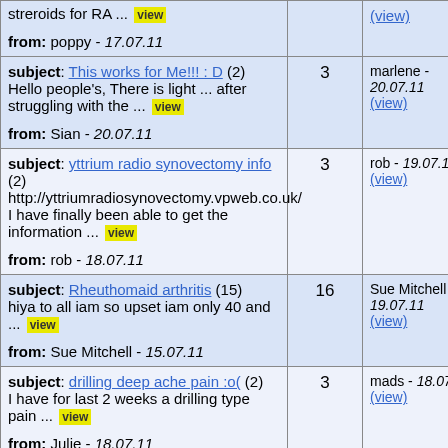| subject/from | count | last |
| --- | --- | --- |
| subject: [link] steroids for RA ... view
from: poppy - 17.07.11 |  | (view) |
| subject: This works for Me!!! : D (2)
Hello people's, There is light ... after struggling with the ... view
from: Sian - 20.07.11 | 3 | marlene - 20.07.11 (view) |
| subject: yttrium radio synovectomy info (2)
http://yttriumradiosynovectomy.vpweb.co.uk/ I have finally been able to get the information ... view
from: rob - 18.07.11 | 3 | rob - 19.07.11 (view) |
| subject: Rheuthomaid arthritis (15)
hiya to all iam so upset iam only 40 and ... view
from: Sue Mitchell - 15.07.11 | 16 | Sue Mitchell - 19.07.11 (view) |
| subject: drilling deep ache pain :o( (2)
I have for last 2 weeks a drilling type pain ... view
from: Julie - 18.07.11 | 3 | mads - 18.07.11 (view) |
| subject: Painkillers (having a rant!) (4) | 5 | Poppy - |